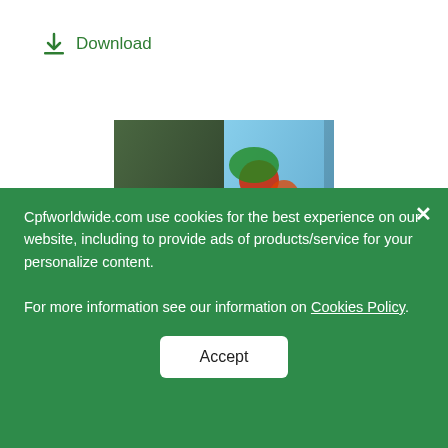Download
[Figure (photo): Makro 'A transformational opportunity' Joint Announcement Presentation document thumbnail showing grocery/market store imagery with vegetables, eggs, packaged goods on cover]
Joint Announcement Presentation
Entire Business Transfer (EBT)
Download
Cpfworldwide.com use cookies for the best experience on our website, including to provide ads of products/service for your personalize content.
For more information see our information on Cookies Policy.
Accept